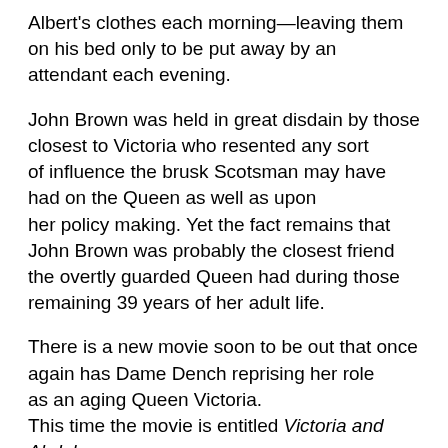Albert's clothes each morning—leaving them on his bed only to be put away by an attendant each evening.
John Brown was held in great disdain by those closest to Victoria who resented any sort of influence the brusk Scotsman may have had on the Queen as well as upon her policy making. Yet the fact remains that John Brown was probably the closest friend the overtly guarded Queen had during those remaining 39 years of her adult life.
There is a new movie soon to be out that once again has Dame Dench reprising her role as an aging Queen Victoria. This time the movie is entitled Victoria and Abdul. The story based on the relationship between Victoria and